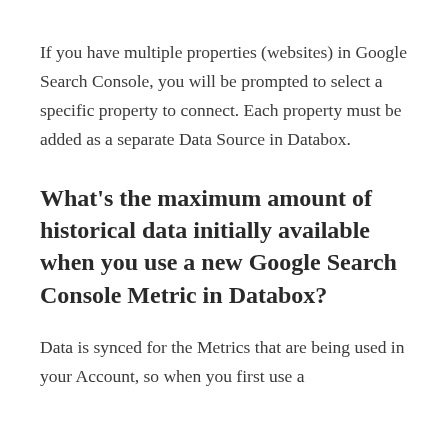If you have multiple properties (websites) in Google Search Console, you will be prompted to select a specific property to connect. Each property must be added as a separate Data Source in Databox.
What's the maximum amount of historical data initially available when you use a new Google Search Console Metric in Databox?
Data is synced for the Metrics that are being used in your Account, so when you first use a